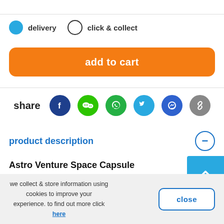delivery (selected) | click & collect
add to cart
[Figure (infographic): Social share icons row: Facebook, WeChat, WhatsApp, Twitter, Messenger, Link]
product description
Astro Venture Space Capsule
Let your kid explore outer space with this fun space toy
we collect & store information using cookies to improve your experience. to find out more click here